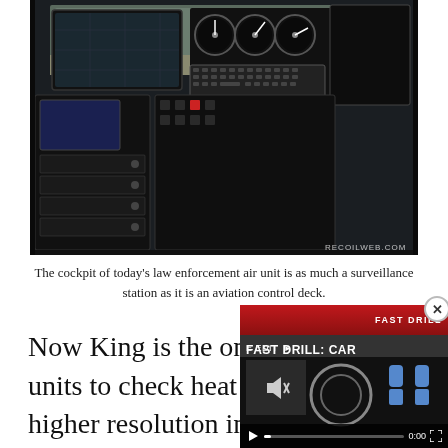[Figure (photo): Interior cockpit view of a law enforcement helicopter showing multiple avionics screens, gauges, control panels, keyboards, and flight controls. Photo watermark reads RECOILWEB.COM in lower right.]
The cockpit of today's law enforcement air unit is as much a surveillance station as it is an aviation control deck.
Now King is the one in the units to check heat source higher resolution in newer
[Figure (screenshot): Video player overlay showing 'FAST DRILL: CAR' title with red top bar reading 'FAST DRILL' and subtitle 'E EDIT'. Shows muted speaker icon, circular graphic, blue target icons, play button, progress bar at 0:00, and fullscreen icon.]